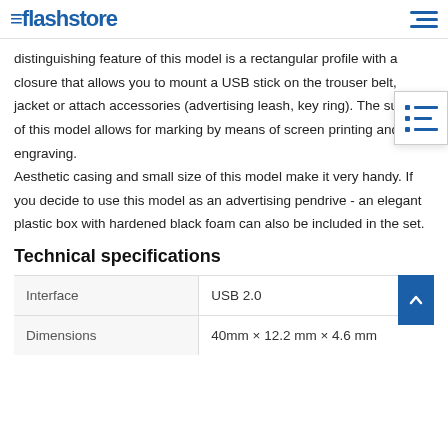flashstore
distinguishing feature of this model is a rectangular profile with a closure that allows you to mount a USB stick on the trouser belt, jacket or attach accessories (advertising leash, key ring). The surface of this model allows for marking by means of screen printing and laser engraving.
Aesthetic casing and small size of this model make it very handy. If you decide to use this model as an advertising pendrive - an elegant plastic box with hardened black foam can also be included in the set.
Technical specifications
|  |  |
| --- | --- |
| Interface | USB 2.0 |
| Dimensions | 40mm × 12.2 mm × 4.6 mm |